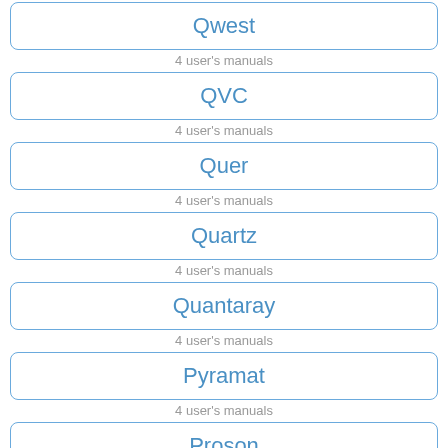Qwest
4 user's manuals
QVC
4 user's manuals
Quer
4 user's manuals
Quartz
4 user's manuals
Quantaray
4 user's manuals
Pyramat
4 user's manuals
Proson